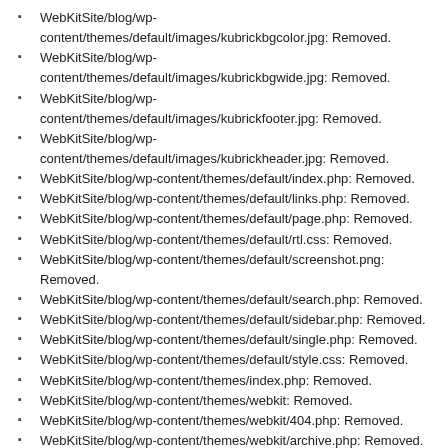WebKitSite/blog/wp-content/themes/default/images/kubrickbgcolor.jpg: Removed.
WebKitSite/blog/wp-content/themes/default/images/kubrickbgwide.jpg: Removed.
WebKitSite/blog/wp-content/themes/default/images/kubrickfooter.jpg: Removed.
WebKitSite/blog/wp-content/themes/default/images/kubrickheader.jpg: Removed.
WebKitSite/blog/wp-content/themes/default/index.php: Removed.
WebKitSite/blog/wp-content/themes/default/links.php: Removed.
WebKitSite/blog/wp-content/themes/default/page.php: Removed.
WebKitSite/blog/wp-content/themes/default/rtl.css: Removed.
WebKitSite/blog/wp-content/themes/default/screenshot.png: Removed.
WebKitSite/blog/wp-content/themes/default/search.php: Removed.
WebKitSite/blog/wp-content/themes/default/sidebar.php: Removed.
WebKitSite/blog/wp-content/themes/default/single.php: Removed.
WebKitSite/blog/wp-content/themes/default/style.css: Removed.
WebKitSite/blog/wp-content/themes/index.php: Removed.
WebKitSite/blog/wp-content/themes/webkit: Removed.
WebKitSite/blog/wp-content/themes/webkit/404.php: Removed.
WebKitSite/blog/wp-content/themes/webkit/archive.php: Removed.
WebKitSite/blog/wp-content/themes/webkit/archives.php: Removed.
WebKitSite/blog/wp-content/themes/webkit/comments-popup.php: Removed.
WebKitSite/blog/wp-content/themes/webkit/comments.php: Removed.
WebKitSite/blog/wp-content/themes/webkit/footer.php: Removed.